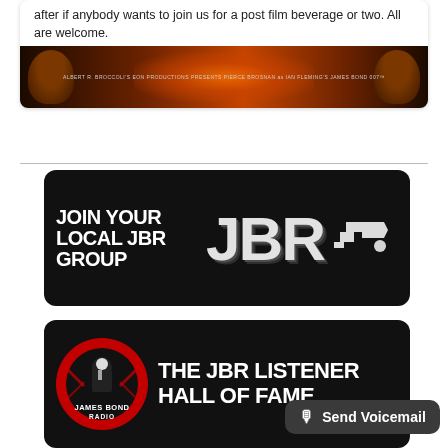after if anybody wants to join us for a post film beverage or two. All are welcome.
[Figure (photo): Dark orange/red movie poster banner with silhouetted faces on sides and text reading ALBERT R. BROCCOLI'S EON PRODUCTIONS PRESENTS PIERCE BROSNAN as IAN FLEMING'S JAMES BOND 007]
[Figure (infographic): Black banner with white bold text reading JOIN YOUR LOCAL JBR GROUP on the left, and large distressed JBR letters with a gun icon on the right]
[Figure (infographic): Black banner with James Bond Radio logo (red circle with silhouette) on the left and large white text reading THE JBR LISTENER HALL OF FAME on the right]
Send Voicemail